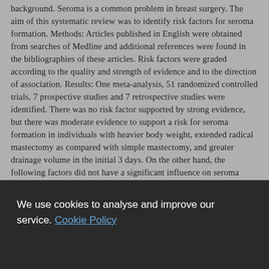background. Seroma is a common problem in breast surgery. The aim of this systematic review was to identify risk factors for seroma formation. Methods: Articles published in English were obtained from searches of Medline and additional references were found in the bibliographies of these articles. Risk factors were graded according to the quality and strength of evidence and to the direction of association. Results: One meta-analysis, 51 randomized controlled trials, 7 prospective studies and 7 retrospective studies were identified. There was no risk factor supported by strong evidence, but there was moderate evidence to support a risk for seroma formation in individuals with heavier body weight, extended radical mastectomy as compared with simple mastectomy, and greater drainage volume in the initial 3 days. On the other hand, the following factors did not have a significant influence on seroma formation: duration of drainage; hormone receptor status; immobilization of the shoulder; intensity of negative suction pressure; lymph node status or lymph node positivity; number of drains; number of removed
We use cookies to analyse and improve our service. Cookie Policy